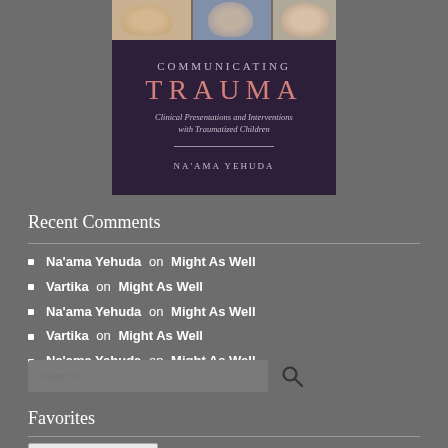[Figure (illustration): Book cover for 'Communicating Trauma: Clinical Presentations and Interventions with Traumatized Children' by Na'ama Yehuda. Dark purple background with title in pink/salmon 'TRAUMA' and subtitle in italic. Author name at bottom. Above the cover is a strip of three child photos.]
Recent Comments
Na'ama Yehuda on Might As Well
Vartika on Might As Well
Na'ama Yehuda on Might As Well
Vartika on Might As Well
Na'ama Yehuda on Might As Well
Favorites